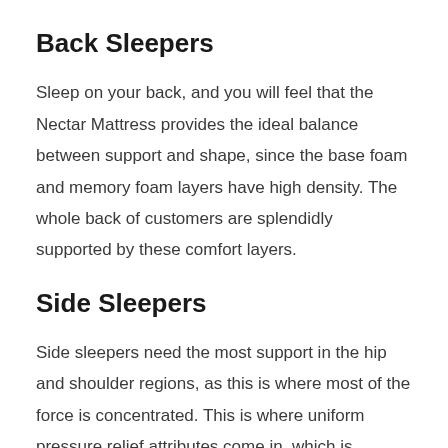Back Sleepers
Sleep on your back, and you will feel that the Nectar Mattress provides the ideal balance between support and shape, since the base foam and memory foam layers have high density. The whole back of customers are splendidly supported by these comfort layers.
Side Sleepers
Side sleepers need the most support in the hip and shoulder regions, as this is where most of the force is concentrated. This is where uniform pressure relief attributes come in, which is